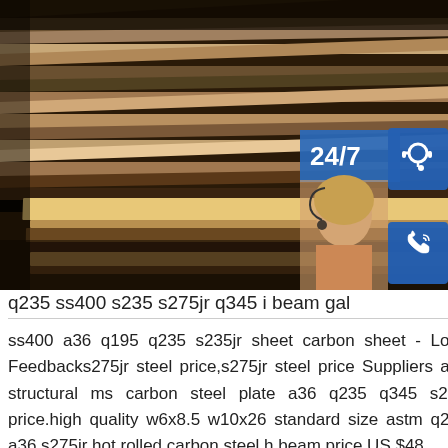[Figure (photo): Stacked steel plates/sheets in a warehouse or storage area, showing layered flat steel in brown/rust colors, with a customer service overlay widget on the right showing 24/7, headset, phone, and Skype icons, and a customer service representative photo]
q235 ss400 s235 s275jr q345 i beam gal
ss400 a36 q195 q235 s235jr sheet carbon sheet - Low . Feedbacks275jr steel price,s275jr steel price Suppliers and structural ms carbon steel plate a36 q235 q345 s275jr price.high quality w6x8.5 w10x26 standard size astm q235 a36 s275jr hot rolled carbon steel h beam price US $48